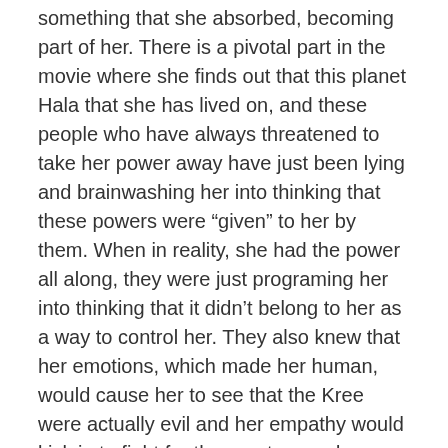something that she absorbed, becoming part of her. There is a pivotal part in the movie where she finds out that this planet Hala that she has lived on, and these people who have always threatened to take her power away have just been lying and brainwashing her into thinking that these powers were “given” to her by them. When in reality, she had the power all along, they were just programing her into thinking that it didn’t belong to her as a way to control her. They also knew that her emotions, which made her human, would cause her to see that the Kree were actually evil and her empathy would kick in to fight for the greater good instead of blind loyalty to them.